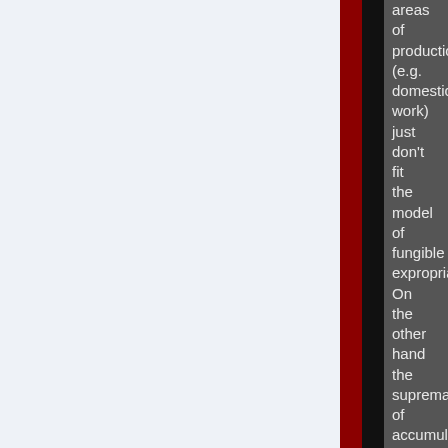areas of production (e.g. domestic work) just don't fit the model of fungible expropriation. On the other hand the supremacy of accumulation as the